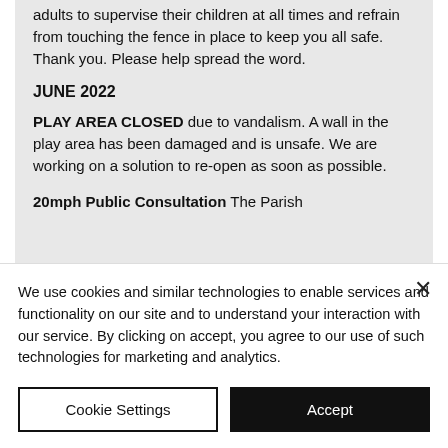adults to supervise their children at all times and refrain from touching the fence in place to keep you all safe. Thank you. Please help spread the word.
JUNE 2022
PLAY AREA CLOSED due to vandalism. A wall in the play area has been damaged and is unsafe. We are working on a solution to re-open as soon as possible.
20mph Public Consultation The Parish
We use cookies and similar technologies to enable services and functionality on our site and to understand your interaction with our service. By clicking on accept, you agree to our use of such technologies for marketing and analytics.
Cookie Settings
Accept